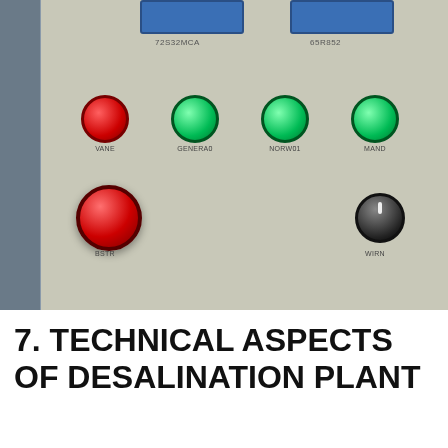[Figure (photo): Close-up photograph of an industrial control panel showing indicator lights (one red, three green) with small text labels below each, a large red emergency stop button at the bottom left with a label, and a black rotary knob at the bottom right with a label. Two blue digital display panels are visible at the top. The panel background is metallic/gray. There is a narrow dark strip along the left edge.]
7. TECHNICAL ASPECTS OF DESALINATION PLANT